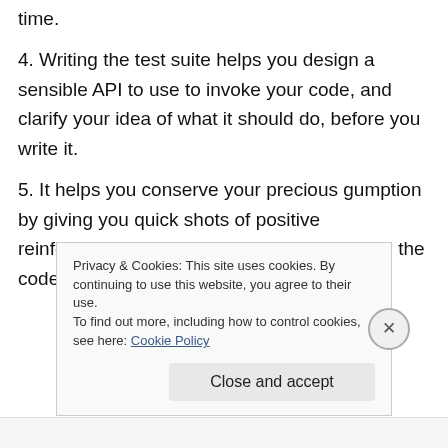time.
4. Writing the test suite helps you design a sensible API to use to invoke your code, and clarify your idea of what it should do, before you write it.
5. It helps you conserve your precious gumption by giving you quick shots of positive reinforcement immediately after you improve the code.
Privacy & Cookies: This site uses cookies. By continuing to use this website, you agree to their use.
To find out more, including how to control cookies, see here: Cookie Policy